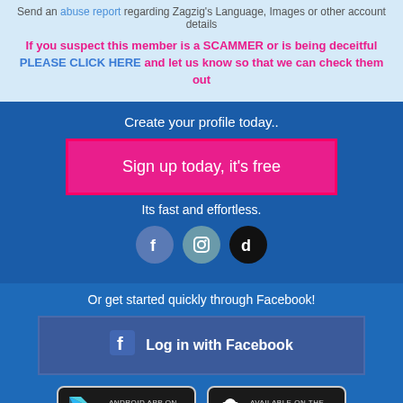Send an abuse report regarding Zagzig's Language, Images or other account details
If you suspect this member is a SCAMMER or is being deceitful PLEASE CLICK HERE and let us know so that we can check them out
Create your profile today..
Sign up today, it's free
Its fast and effortless.
[Figure (infographic): Three social media icons: Facebook (f), Instagram (camera), TikTok]
Or get started quickly through Facebook!
Log in with Facebook
[Figure (infographic): Google Play and App Store download badges]
Home   About Us